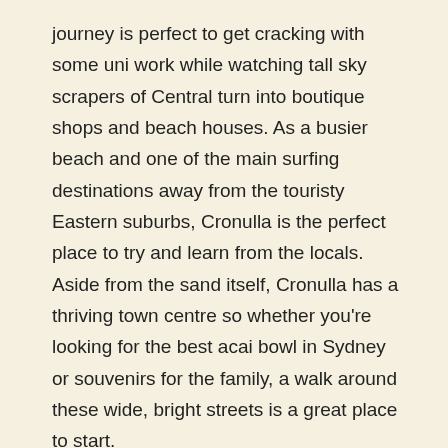journey is perfect to get cracking with some uni work while watching tall sky scrapers of Central turn into boutique shops and beach houses. As a busier beach and one of the main surfing destinations away from the touristy Eastern suburbs, Cronulla is the perfect place to try and learn from the locals. Aside from the sand itself, Cronulla has a thriving town centre so whether you're looking for the best acai bowl in Sydney or souvenirs for the family, a walk around these wide, bright streets is a great place to start.
Clontarf Beach
The Spit to Manly Walk is one of the nicest coastal treks in Sydney which includes lizards, crabs, forest and Indigenous artwork. Getting a bus to Spit and the ferry back from Manly means you get to see heaps of the city itself too. Halfway through this track sits Clontarf Beach